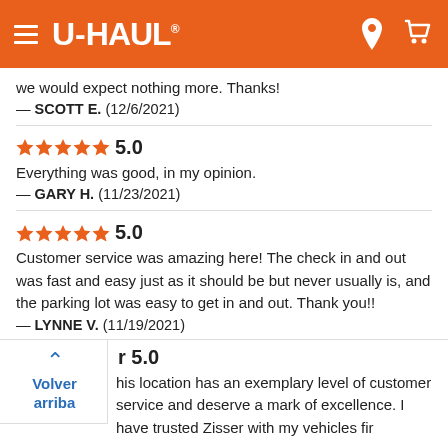U-HAUL
we would expect nothing more. Thanks!
— SCOTT E.  (12/6/2021)
★★★★★ 5.0
Everything was good, in my opinion.
— GARY H.  (11/23/2021)
★★★★★ 5.0
Customer service was amazing here! The check in and out was fast and easy just as it should be but never usually is, and the parking lot was easy to get in and out. Thank you!!
— LYNNE V.  (11/19/2021)
r 5.0
his location has an exemplary level of customer service and deserve a mark of excellence. I have trusted Zisser with my vehicles fir